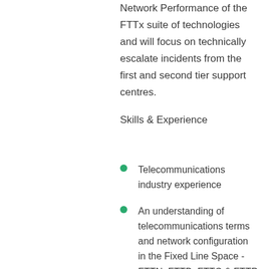Network Performance of the FTTx suite of technologies and will focus on technically escalate incidents from the first and second tier support centres.
Skills & Experience
Telecommunications industry experience
An understanding of telecommunications terms and network configuration in the Fixed Line Space - FTTN, FTTB, FTTC & FTTP Demonstrated ability to work to develop their functional competencies through process improvements